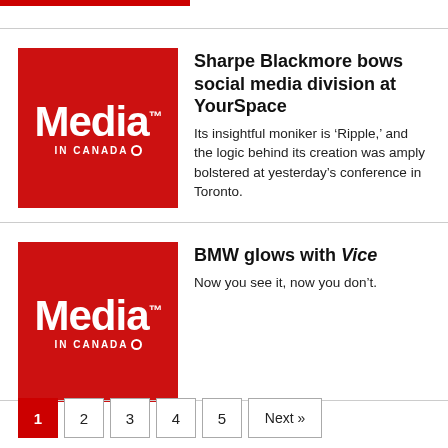[Figure (logo): Media In Canada logo — red square with white bold 'Media' text and 'IN CANADA' subtitle, used as article thumbnail for first article]
Sharpe Blackmore bows social media division at YourSpace
Its insightful moniker is ‘Ripple,’ and the logic behind its creation was amply bolstered at yesterday’s conference in Toronto.
[Figure (logo): Media In Canada logo — red square with white bold 'Media' text and 'IN CANADA' subtitle, used as article thumbnail for second article]
BMW glows with Vice
Now you see it, now you don’t.